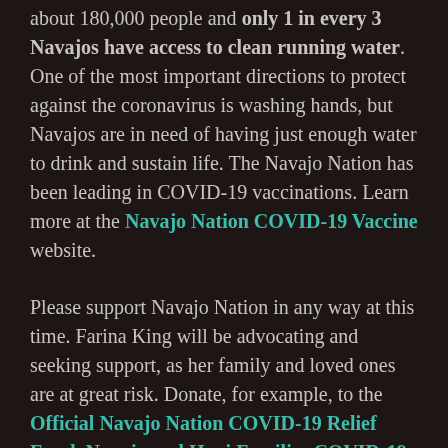about 180,000 people and only 1 in every 3 Navajos have access to clean running water. One of the most important directions to protect against the coronavirus is washing hands, but Navajos are in need of having just enough water to drink and sustain life. The Navajo Nation has been leading in COVID-19 vaccinations. Learn more at the Navajo Nation COVID-19 Vaccine website.
Please support Navajo Nation in any way at this time. Farina King will be advocating and seeking support, as her family and loved ones are at great risk. Donate, for example, to the Official Navajo Nation COVID-19 Relief Fund, Navajo and Hopi Families COVID-19 Relief Fund, Utah Tribal COVID-19 Relief, and Protect Native Elders and petition our leaders for more attention and support of our Indigenous peoples and families. Learn more at